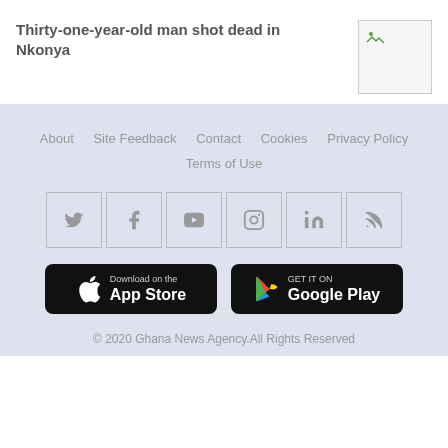Thirty-one-year-old man shot dead in Nkonya
[Figure (photo): Thumbnail image placeholder with small icon]
About  Site Feedback  Contact  Cookies  Privacy Policy  Terms of Use
[Figure (infographic): Social media icons: Twitter, Facebook, YouTube, Instagram, LinkedIn, RSS]
[Figure (infographic): App store download buttons: Download on the App Store and GET IT ON Google Play]
© 2020 Ghana News Agency.All Rights Reserved